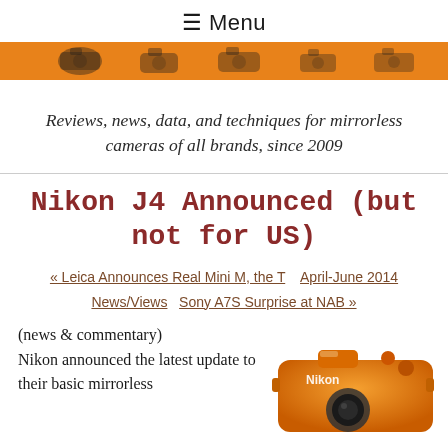☰ Menu
[Figure (photo): Orange banner with silhouettes of mirrorless cameras]
Reviews, news, data, and techniques for mirrorless cameras of all brands, since 2009
Nikon J4 Announced (but not for US)
« Leica Announces Real Mini M, the T   April-June 2014 News/Views   Sony A7S Surprise at NAB »
(news & commentary)
Nikon announced the latest update to their basic mirrorless
[Figure (photo): Orange Nikon J4 mirrorless camera]